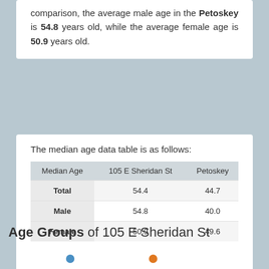comparison, the average male age in the Petoskey is 54.8 years old, while the average female age is 50.9 years old.
The median age data table is as follows:
| Median Age | 105 E Sheridan St | Petoskey |
| --- | --- | --- |
| Total | 54.4 | 44.7 |
| Male | 54.8 | 40.0 |
| Female | 50.9 | 49.6 |
data source
Age Groups of 105 E Sheridan St